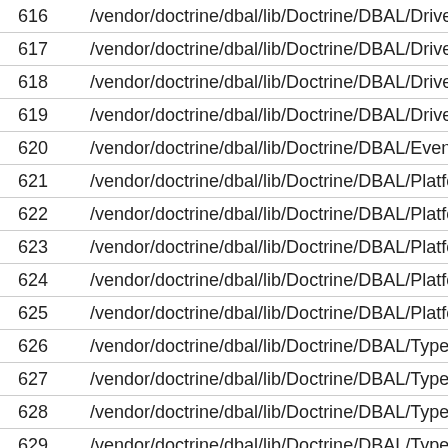| # | Path |
| --- | --- |
| 616 | /vendor/doctrine/dbal/lib/Doctrine/DBAL/Driver/Se |
| 617 | /vendor/doctrine/dbal/lib/Doctrine/DBAL/Driver/PD |
| 618 | /vendor/doctrine/dbal/lib/Doctrine/DBAL/Driver/St |
| 619 | /vendor/doctrine/dbal/lib/Doctrine/DBAL/Driver/Re |
| 620 | /vendor/doctrine/dbal/lib/Doctrine/DBAL/Events.ph |
| 621 | /vendor/doctrine/dbal/lib/Doctrine/DBAL/Platforms |
| 622 | /vendor/doctrine/dbal/lib/Doctrine/DBAL/Platforms |
| 623 | /vendor/doctrine/dbal/lib/Doctrine/DBAL/Platforms |
| 624 | /vendor/doctrine/dbal/lib/Doctrine/DBAL/Platforms |
| 625 | /vendor/doctrine/dbal/lib/Doctrine/DBAL/Platforms |
| 626 | /vendor/doctrine/dbal/lib/Doctrine/DBAL/Types/Ty |
| 627 | /vendor/doctrine/dbal/lib/Doctrine/DBAL/Types/Ar |
| 628 | /vendor/doctrine/dbal/lib/Doctrine/DBAL/Types/Sir |
| 629 | /vendor/doctrine/dbal/lib/Doctrine/DBAL/Types/... |